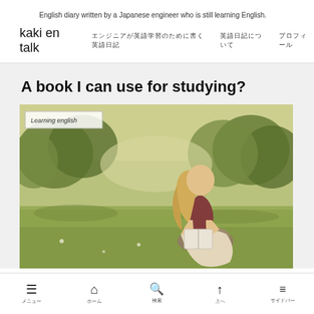English diary written by a Japanese engineer who is still learning English.
kaki en talk　エンジニアが英語学習のために書く英語日記　英語日記について　プロフィール
A book I can use for studying?
[Figure (photo): A woman with blonde hair sitting on a rock outdoors in a park setting, reading a book. Lush green trees and grass in background. Label overlay reads 'Learning english'.]
メニュー　ホーム　検索　上へ　サイドバー